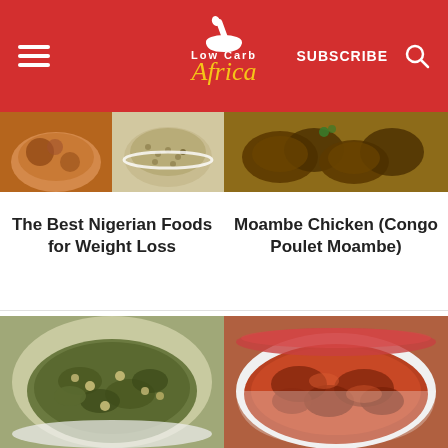Low Carb Africa — SUBSCRIBE
[Figure (photo): Two food dishes: Nigerian stew and a grain/egusi dish in white bowl]
[Figure (photo): Moambe chicken - Congo Poulet Moambe dish, grilled/braised chicken]
The Best Nigerian Foods for Weight Loss
Moambe Chicken (Congo Poulet Moambe)
[Figure (photo): Egusi or vegetable stew dish, green leafy vegetable stew in bowl]
[Figure (photo): Red tomato-based meat stew in white bowl]